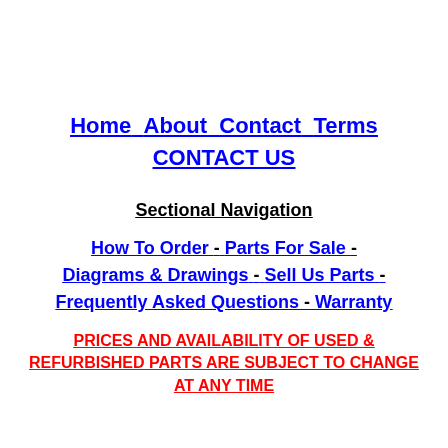Home   About   Contact   Terms   CONTACT US
Sectional Navigation
How To Order - Parts For Sale - Diagrams & Drawings - Sell Us Parts - Frequently Asked Questions - Warranty
PRICES AND AVAILABILITY OF USED & REFURBISHED PARTS ARE SUBJECT TO CHANGE AT ANY TIME